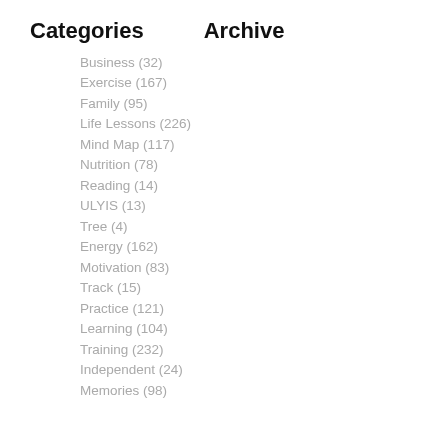Categories
Archive
Business (32)
Exercise (167)
Family (95)
Life Lessons (226)
Mind Map (117)
Nutrition (78)
Reading (14)
ULYIS (13)
Tree (4)
Energy (162)
Motivation (83)
Track (15)
Practice (121)
Learning (104)
Training (232)
Independent (24)
Memories (98)